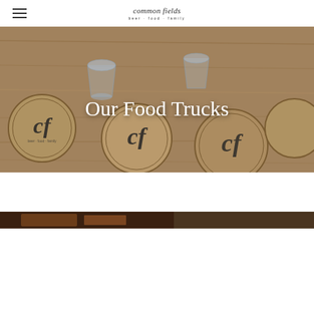common fields · beer · food · family
Our Food Trucks
[Figure (photo): Overhead photo of beer coasters with 'cf' logo and beer glasses on a wooden table]
[Figure (photo): Partial view of a food truck image strip, dark background]